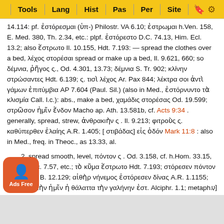Tools | Lang | Hist | Pas | Per | Site
14.114: pf. ἐστόρεσμαι (ὑπ-) Philostr. VA 6.10; ἐστρωμαι h.Ven. 158, E. Med. 380, Th. 2.34, etc.: plpf. ἐστόρεστο D.C. 74.13, Him. Ecl. 13.2; also ἕστρωτο Il. 10.155, Hdt. 7.193: — spread the clothes over a bed, λέχος στορέσαι spread or make up a bed, Il. 9.621, 660; so δέμνια, ῥῆγος ς., Od. 4.301, 13.73; δέμνια S. Tr. 902; κλίνην στρώσαντες Hdt. 6.139; ς. τισὶ λέχος Ar. Pax 844; λέκτρα σοι ἀντὶ γάμων ἐπιτύμβια AP 7.604 (Paul. Sil.) (also in Med., ἐστόρνυντο τὰ κλισμία Call. l.c.): abs., make a bed, χαμάδις στορέσας Od. 19.599; στρῶσον ἡμῖν ἔνδον Macho ap. Ath. 13.581b, cf. Acts 9:34 . generally, spread, strew, ἀνθρακιὴν ς . Il. 9.213; φιτροὺς ς. καθύπερθεν ἐλαίης A.R. 1.405; [ στιβάδας] εἰς ὁδόν Mark 11:8 : also in Med., freq. in Theoc., as 13.33, al.
2. spread smooth, level, πόντον ς . Od. 3.158, cf. h.Hom. 33.15, Theoc. 7.57, etc.; τὸ κῦμα ἕστρωτο Hdt. 7.193; στόρεσεν πόντον οὐρία B. 12.129; αἰθὴρ νήνεμος ἐστόρεσεν δίνας A.R. 1.1155; χρηστὴν ἡμῖν ἡ θάλαττα τὴν γαλήνην ἐστ. Alciphr. 1.1; metaph., calm, soothe,
υ]